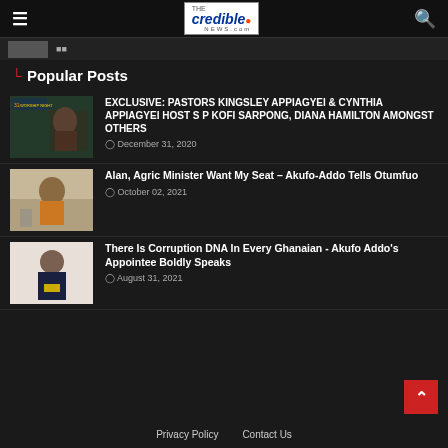The Credible News
[Figure (photo): Partial image strip at top with thumbnail]
Popular Posts
[Figure (photo): Thumbnail for post about Pastors Kingsley Appiagyei and Cynthia Appiagyei event]
EXCLUSIVE: PASTORS KINGSLEY APPIAGYEI & CYNTHIA APPIAGYEI HOST S P KOFI SARPONG, DIANA HAMILTON AMONGST OTHERS
December 31, 2020
[Figure (photo): Thumbnail of Akufo-Addo speaking at podium]
Alan, Agric Minister Want My Seat – Akufo-Addo Tells Otumfuo
October 02, 2021
[Figure (photo): Thumbnail of an older man in dark suit and yellow shirt]
There Is Corruption DNA In Every Ghanaian - Akufo Addo's Appointee Boldly Speaks
August 31, 2021
Privacy Policy   Contact Us